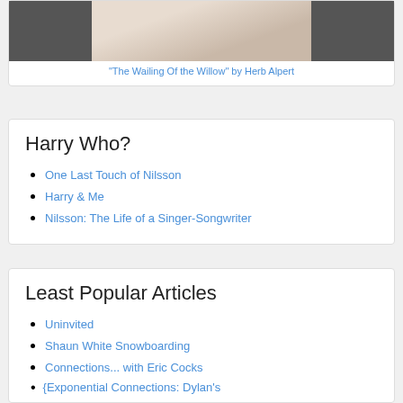[Figure (photo): Photo of a person in light-colored clothing, partially visible, standing in front of a background with text 'RARE & UNRELEASED'. A trumpet or similar instrument is visible.]
"The Wailing Of the Willow" by Herb Alpert
Harry Who?
One Last Touch of Nilsson
Harry & Me
Nilsson: The Life of a Singer-Songwriter
Least Popular Articles
Uninvited
Shaun White Snowboarding
Connections... with Eric Cocks
{Exponential Connections: Dylan's